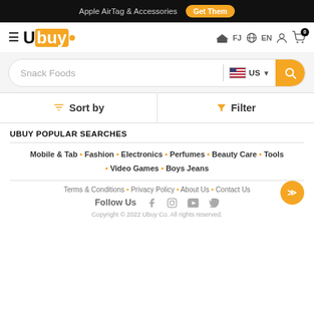Apple AirTag & Accessories  Get Them
[Figure (logo): Ubuy logo with orange background and navigation icons (FJ country, EN language, user icon, cart with 0)]
Snack Foods  US
Sort by   Filter
UBUY POPULAR SEARCHES
Mobile & Tab • Fashion • Electronics • Perfumes • Beauty Care • Tools • Video Games • Boys Jeans
Terms & Conditions • Privacy Policy • About Us • Contact Us
Follow Us
Copyright © 2022 Ubuy Co. All rights reserved.